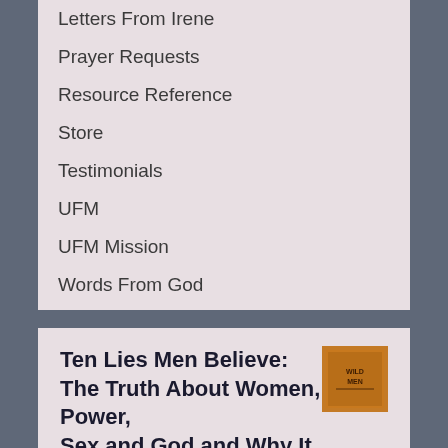Letters From Irene
Prayer Requests
Resource Reference
Store
Testimonials
UFM
UFM Mission
Words From God
Ten Lies Men Believe: The Truth About Women, Power, Sex, and God and Why It Matt…
[Figure (photo): Book cover thumbnail for 'Wild Men' or similar title, orange/brown square cover with text]